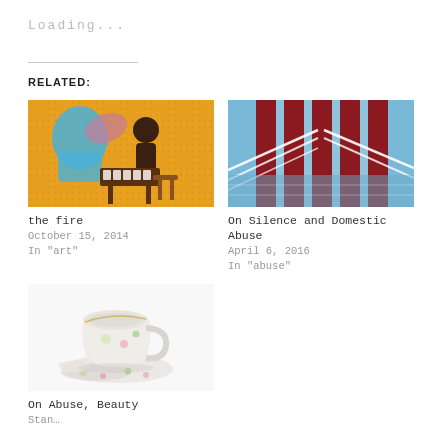Loading...
RELATED:
[Figure (illustration): Colorful painting of a person sitting at a piano/keyboard with blue and yellow background with abstract figures]
the fire
October 15, 2014
In "art"
[Figure (illustration): Graphic artwork showing red vertical columns/pillars on a blue background with white architectural elements]
On Silence and Domestic Abuse
April 6, 2016
In "abuse"
[Figure (photo): Photo of broken white porcelain teacup and saucer with floral design on white background]
On Abuse, Beauty
Stan…